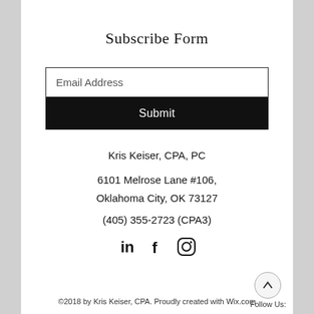Subscribe Form
[Figure (other): Email Address input field with black border and Submit button with black background and white text]
Kris Keiser, CPA, PC
6101 Melrose Lane #106,
Oklahoma City, OK 73127
(405) 355-2723 (CPA3)
[Figure (other): Social media icons: LinkedIn, Facebook, Instagram]
©2018 by Kris Keiser, CPA. Proudly created with Wix.com
Follow Us: